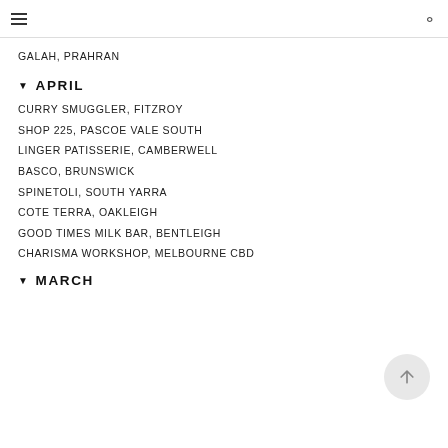GALAH, PRAHRAN
▼ APRIL
CURRY SMUGGLER, FITZROY
SHOP 225, PASCOE VALE SOUTH
LINGER PATISSERIE, CAMBERWELL
BASCO, BRUNSWICK
SPINETOLI, SOUTH YARRA
COTE TERRA, OAKLEIGH
GOOD TIMES MILK BAR, BENTLEIGH
CHARISMA WORKSHOP, MELBOURNE CBD
▼ MARCH